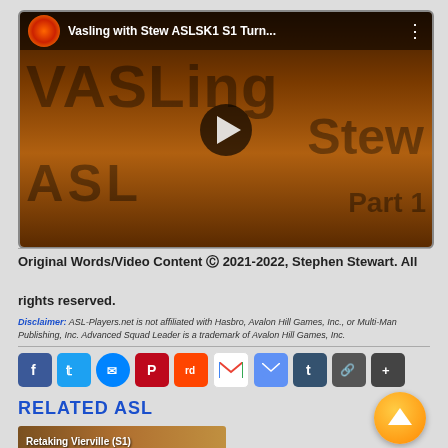[Figure (screenshot): YouTube video thumbnail showing 'Vasling with Stew ASLSK1 S1 Turn...' with channel avatar, play button, and dark orange background with ASLing/Stew/ASL text overlay]
Original Words/Video Content © 2021-2022, Stephen Stewart. All rights reserved.
Disclaimer: ASL-Players.net is not affiliated with Hasbro, Avalon Hill Games, Inc., or Multi-Man Publishing, Inc. Advanced Squad Leader is a trademark of Avalon Hill Games, Inc.
[Figure (infographic): Row of social sharing icons: Facebook, Twitter, Messenger, Pinterest, Reddit, Gmail, Email, Tumblr, Copy Link, Share]
RELATED ASL
[Figure (photo): Thumbnail image for 'Retaking Vierville (S1)' with brown/tan background]